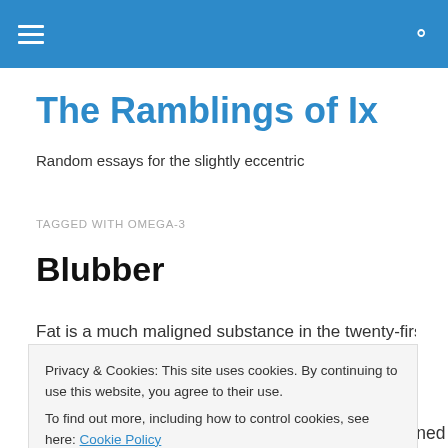The Ramblings of Ix (navigation bar)
The Ramblings of Ix
Random essays for the slightly eccentric
TAGGED WITH OMEGA-3
Blubber
Fat is a much-maligned substance in the twenty-first
Privacy & Cookies: This site uses cookies. By continuing to use this website, you agree to their use. To find out more, including how to control cookies, see here: Cookie Policy
fat is not, in fact, some demonic hate figure designed